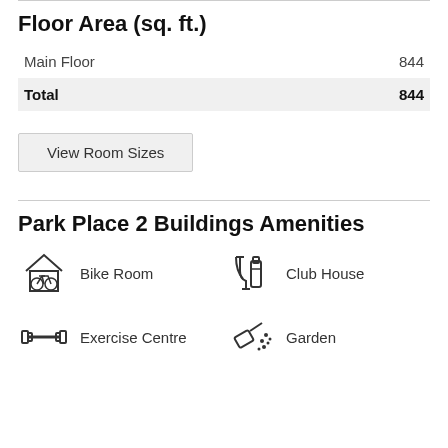Floor Area (sq. ft.)
|  |  |
| --- | --- |
| Main Floor | 844 |
| Total | 844 |
View Room Sizes
Park Place 2 Buildings Amenities
Bike Room
Club House
Exercise Centre
Garden